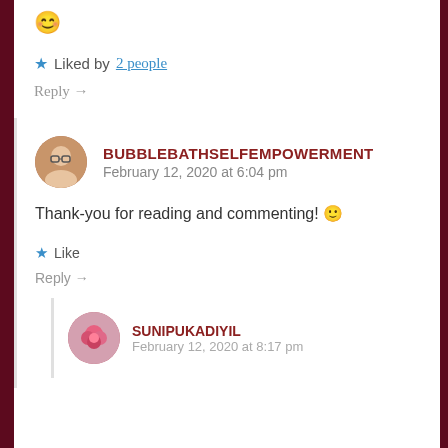😊
★ Liked by 2 people
Reply →
BUBBLEBATHSELFEMPOWERMENT
February 12, 2020 at 6:04 pm
Thank-you for reading and commenting! 🙂
★ Like
Reply →
SUNIPUKADIYIL
February 12, 2020 at 8:17 pm